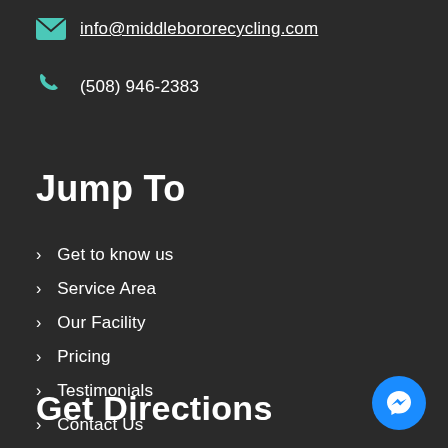info@middlebororecycling.com
(508) 946-2383
Jump To
Get to know us
Service Area
Our Facility
Pricing
Testimonials
Contact Us
Get Directions
[Figure (illustration): Blue circular Messenger chat button icon in bottom-right corner]